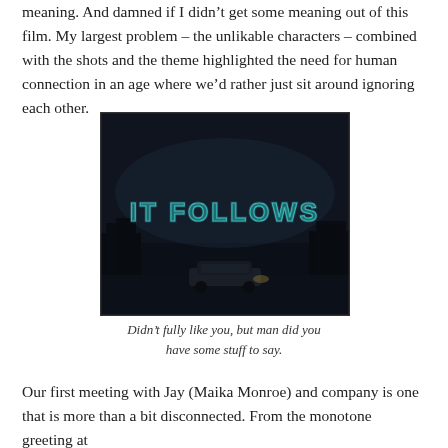meaning. And damned if I didn’t get some meaning out of this film. My largest problem – the unlikable characters – combined with the shots and the theme highlighted the need for human connection in an age where we’d rather just sit around ignoring each other.
[Figure (photo): Movie poster for 'It Follows' showing the film title in large glowing teal letters against a dark, moody background with a car silhouetted in the lower portion.]
Didn’t fully like you, but man did you have some stuff to say.
Our first meeting with Jay (Maika Monroe) and company is one that is more than a bit disconnected. From the monotone greeting at